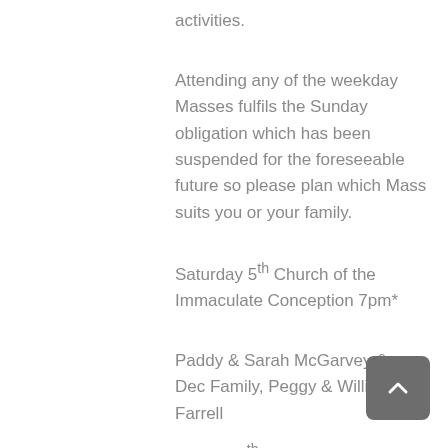activities.
Attending any of the weekday Masses fulfils the Sunday obligation which has been suspended for the foreseeable future so please plan which Mass suits you or your family.
Saturday 5th Church of the Immaculate Conception 7pm*
Paddy & Sarah McGarvey & Dec Family, Peggy & Willie Farrell
Sunday 6th St Matthew's Church 11am
Tuesday 8th Church of the Immaculate...